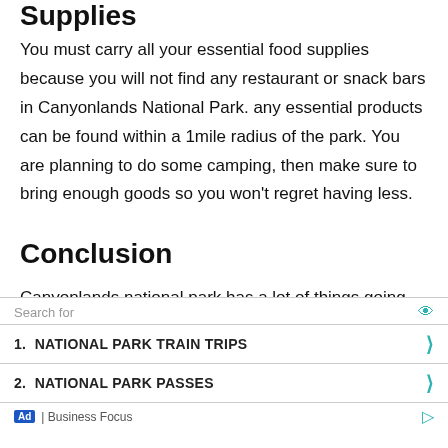Supplies
You must carry all your essential food supplies because you will not find any restaurant or snack bars in Canyonlands National Park. any essential products can be found within a 1mile radius of the park. You are planning to do some camping, then make sure to bring enough goods so you won’t regret having less.
Conclusion
Canyonlands national park has a lot of things going for it. The Beautiful rock formation to the thriving wildlife featuring plenty of diverse creatures. In alamo any corner
Search for
1.  NATIONAL PARK TRAIN TRIPS
2.  NATIONAL PARK PASSES
Ad | Business Focus